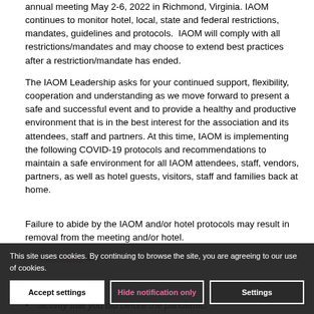annual meeting May 2-6, 2022 in Richmond, Virginia. IAOM continues to monitor hotel, local, state and federal restrictions, mandates, guidelines and protocols.  IAOM will comply with all restrictions/mandates and may choose to extend best practices after a restriction/mandate has ended.
The IAOM Leadership asks for your continued support, flexibility, cooperation and understanding as we move forward to present a safe and successful event and to provide a healthy and productive environment that is in the best interest for the association and its attendees, staff and partners. At this time, IAOM is implementing the following COVID-19 protocols and recommendations to maintain a safe environment for all IAOM attendees, staff, vendors, partners, as well as hotel guests, visitors, staff and families back at home.
Failure to abide by the IAOM and/or hotel protocols may result in removal from the meeting and/or hotel.
Stay home if...
activity that you did before the pandemic.
This site uses cookies. By continuing to browse the site, you are agreeing to our use of cookies.